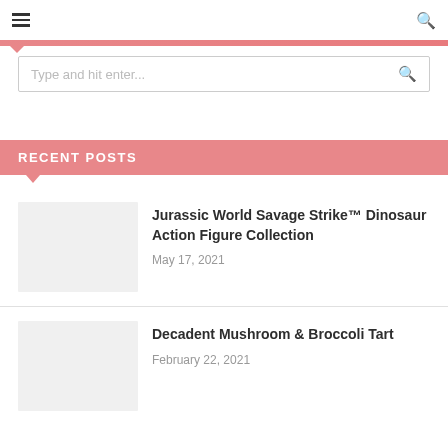≡ 🔍
Type and hit enter...
RECENT POSTS
Jurassic World Savage Strike™ Dinosaur Action Figure Collection
May 17, 2021
Decadent Mushroom & Broccoli Tart
February 22, 2021